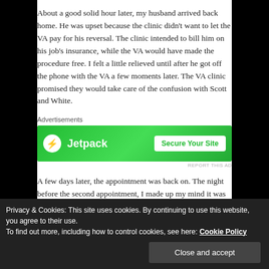About a good solid hour later, my husband arrived back home. He was upset because the clinic didn't want to let the VA pay for his reversal. The clinic intended to bill him on his job's insurance, while the VA would have made the procedure free. I felt a little relieved until after he got off the phone with the VA a few moments later. The VA clinic promised they would take care of the confusion with Scott and White.
Advertisements
[Figure (other): Jetpack advertisement banner: green background with Jetpack logo (white circle with lightning bolt) and 'Secure Your Site' call-to-action button]
A few days later, the appointment was back on. The night before the second appointment, I made up my mind it was...
Privacy & Cookies: This site uses cookies. By continuing to use this website, you agree to their use.
To find out more, including how to control cookies, see here: Cookie Policy
Close and accept